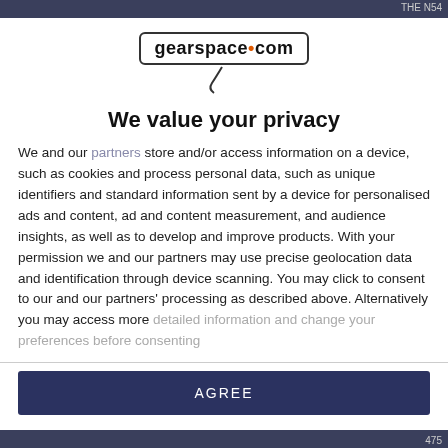[Figure (logo): gearspace.com logo with microphone cable graphic]
We value your privacy
We and our partners store and/or access information on a device, such as cookies and process personal data, such as unique identifiers and standard information sent by a device for personalised ads and content, ad and content measurement, and audience insights, as well as to develop and improve products. With your permission we and our partners may use precise geolocation data and identification through device scanning. You may click to consent to our and our partners' processing as described above. Alternatively you may access more detailed information and change your preferences before consenting
AGREE
MORE OPTIONS